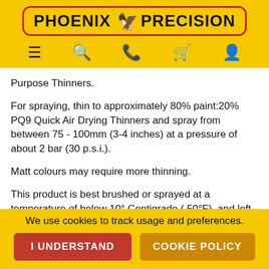[Figure (logo): Phoenix Precision logo with eagle emblem in a rounded rectangle border on yellow background]
[Figure (infographic): Navigation icon bar with hamburger menu, search, phone, cart, and user icons on yellow background]
Purpose Thinners.
For spraying, thin to approximately 80% paint:20% PQ9 Quick Air Drying Thinners and spray from between 75 - 100mm (3-4 inches) at a pressure of about 2 bar (30 p.s.i.).
Matt colours may require more thinning.
This product is best brushed or sprayed at a temperature of below 10° Centigrade ( 50°F). and left for a Minimum of 24 - 48 hours to dry before any overcoating or further actions ...
We use cookies to track usage and preferences.
I UNDERSTAND
COOKIE POLICY